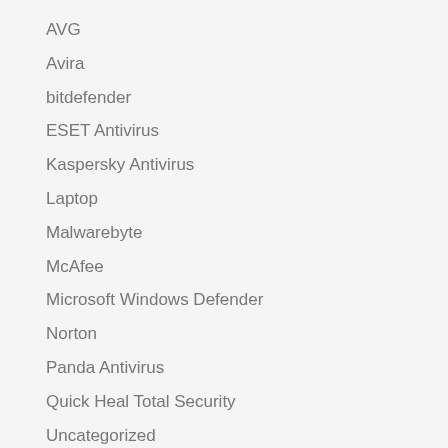AVG
Avira
bitdefender
ESET Antivirus
Kaspersky Antivirus
Laptop
Malwarebyte
McAfee
Microsoft Windows Defender
Norton
Panda Antivirus
Quick Heal Total Security
Uncategorized
Webroot
Win…